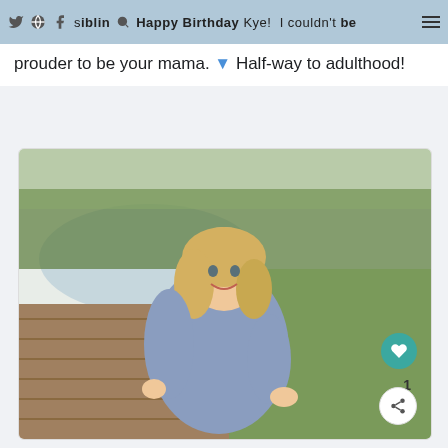siblings. Happy Birthday Kye! I couldn't be prouder to be your mama. Half-way to adulthood!
prouder to be your mama. 💙 Half-way to adulthood!
[Figure (photo): A smiling blonde woman in a blue-grey dress sitting on a wooden dock by a pond with green trees and grass in the background.]